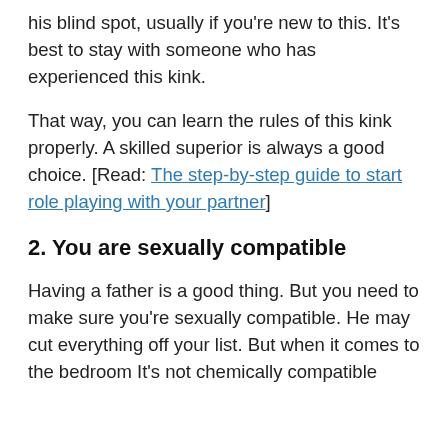his blind spot, usually if you're new to this. It's best to stay with someone who has experienced this kink.
That way, you can learn the rules of this kink properly. A skilled superior is always a good choice. [Read: The step-by-step guide to start role playing with your partner]
2. You are sexually compatible
Having a father is a good thing. But you need to make sure you're sexually compatible. He may cut everything off your list. But when it comes to the bedroom It's not chemically compatible